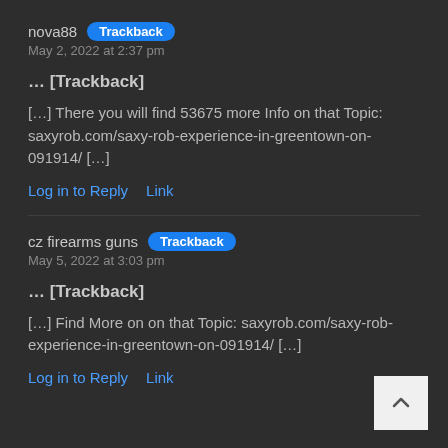nova88  Trackback
May 2, 2022 at 2:37 pm
… [Trackback]
[…] There you will find 53675 more Info on that Topic: saxyrob.com/saxy-rob-experience-in-greentown-on-091914/ […]
Log in to Reply   Link
cz firearms guns  Trackback
May 5, 2022 at 3:03 pm
… [Trackback]
[…] Find More on on that Topic: saxyrob.com/saxy-rob-experience-in-greentown-on-091914/ […]
Log in to Reply   Link